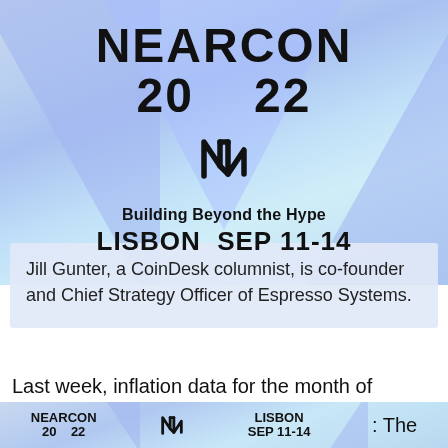[Figure (illustration): NEARCON 2022 conference advertisement banner with blue/purple gradient background, geometric triangle shapes, NEAR Protocol logo, tagline 'Building Beyond the Hype', location 'LISBON SEP 11-14']
Jill Gunter, a CoinDesk columnist, is co-founder and Chief Strategy Officer of Espresso Systems.
Last week, inflation data for the month of January
[Figure (illustration): NEARCON 20 22 bottom banner strip with NEAR logo, LISBON SEP 11-14 text]